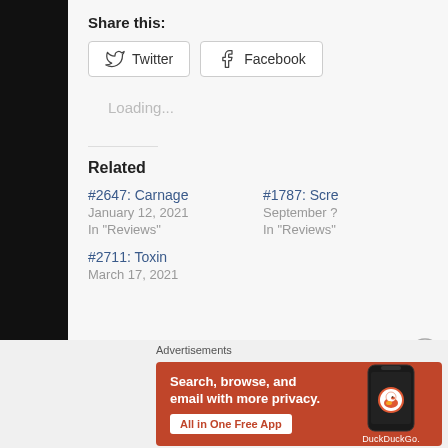Share this:
[Figure (screenshot): Social share buttons: Twitter and Facebook]
Loading...
Related
#2647: Carnage
January 12, 2021
In "Reviews"
#1787: Scre
September ?
In "Reviews"
#2711: Toxin
March 17, 2021
[Figure (screenshot): DuckDuckGo advertisement banner: Search, browse, and email with more privacy. All in One Free App]
Advertisements